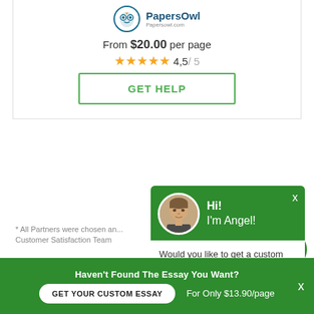[Figure (logo): PapersOwl logo with owl icon and website papersowl.com]
From $20.00 per page
4,5 / 5 (star rating)
GET HELP
* All Partners were chosen an... Customer Satisfaction Team
Secondly, the aspects tha... decisions and cope with... our approach to work, p... are Nature and tactics. T... thinking, where they ma... within reasons and prioritizing logic over emotion... tend to hide their feelings and that productivity is m...
[Figure (screenshot): Chat widget with green background showing avatar photo of a man, text 'Hi! I'm Angel!' and X close button, with white chat body asking 'Would you like to get a custom essay? How about receiving a customized one?' and 'Check it out' link]
[Figure (other): Green circular chat icon button with message bubble icon]
Haven't Found The Essay You Want?
GET YOUR CUSTOM ESSAY
For Only $13.90/page